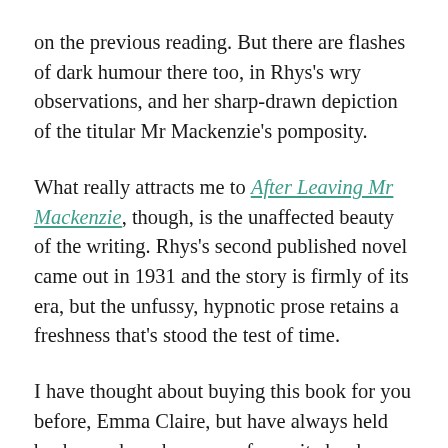on the previous reading. But there are flashes of dark humour there too, in Rhys's wry observations, and her sharp-drawn depiction of the titular Mr Mackenzie's pomposity.
What really attracts me to After Leaving Mr Mackenzie, though, is the unaffected beauty of the writing. Rhys's second published novel came out in 1931 and the story is firmly of its era, but the unfussy, hypnotic prose retains a freshness that's stood the test of time.
I have thought about buying this book for you before, Emma Claire, but have always held back – perhaps because a favourite book can come to seem like a part of your own history. Unreasonable as it is, it's hard not to take it as a personal slight if your friend then goes and tells you they didn't like it.